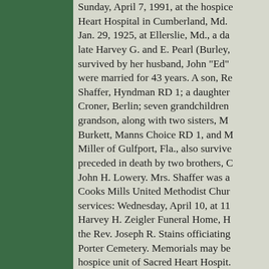Sunday, April 7, 1991, at the hospice Sacred Heart Hospital in Cumberland, Md. Jan. 29, 1925, at Ellerslie, Md., a da late Harvey G. and E. Pearl (Burley, survived by her husband, John "Ed" were married for 43 years. A son, Re Shaffer, Hyndman RD 1; a daughter Croner, Berlin; seven grandchildren grandson, along with two sisters, M Burkett, Manns Choice RD 1, and M Miller of Gulfport, Fla., also survive preceded in death by two brothers, G John H. Lowery. Mrs. Shaffer was a Cooks Mills United Methodist Chur services: Wednesday, April 10, at 11 Harvey H. Zeigler Funeral Home, H the Rev. Joseph R. Stains officiating Porter Cemetery. Memorials may be hospice unit of Sacred Heart Hospit.
The Bedford County Inquirer, April 12, 1 (Courtesy of Sheryl Kelso) Posted August 18, 2010